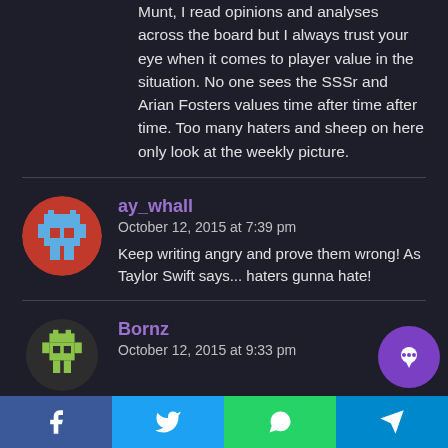Munt, I read opinions and analyses across the board but I always trust your eye when it comes to player value in the situation. No one sees the SSSr and Arian Fosters values time after time after time. Too many haters and sheep on here only look at the weekly picture.
ay_whall
October 12, 2015 at 7:39 pm
Keep writing angry and prove them wrong! As Taylor Swift says... haters gunna hate!
Bornz
October 12, 2015 at 9:33 pm